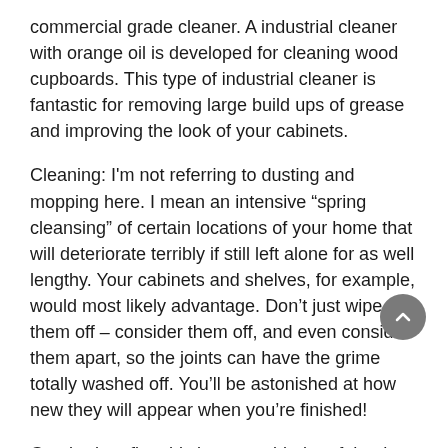commercial grade cleaner. A industrial cleaner with orange oil is developed for cleaning wood cupboards. This type of industrial cleaner is fantastic for removing large build ups of grease and improving the look of your cabinets.
Cleaning: I'm not referring to dusting and mopping here. I mean an intensive "spring cleansing" of certain locations of your home that will deteriorate terribly if still left alone for as well lengthy. Your cabinets and shelves, for example, would most likely advantage. Don't just wipe them off – consider them off, and even consider them apart, so the joints can have the grime totally washed off. You'll be astonished at how new they will appear when you're finished!
Gambrel roofing this is a two-sided roof that has slopes, which also arrives in two in each sides. This style is mostly used in barns but has also been applied to houses, especially these to colonial kinds, via the years. This produces a classic appear in your house.